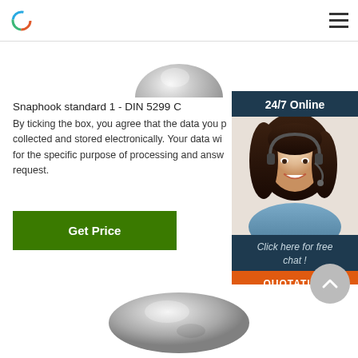[Figure (photo): Top portion of a metallic snaphook/carabiner product photo, showing the upper curved silver metallic part against a white background]
Snaphook standard 1 - DIN 5299 C
By ticking the box, you agree that the data you p collected and stored electronically. Your data wi for the specific purpose of processing and answ request.
[Figure (other): 24/7 Online customer support widget showing a smiling woman with a headset, with 'Click here for free chat!' text and an orange QUOTATION button]
[Figure (other): Scroll-to-top circular gray button with upward chevron arrow]
[Figure (photo): Bottom portion of a metallic snaphook/carabiner product photo, showing the lower silver metallic spherical/oval part]